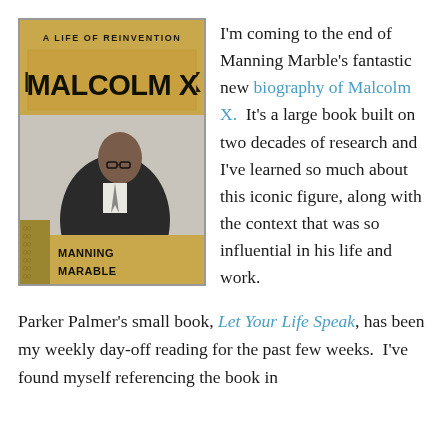[Figure (illustration): Book cover of 'Malcolm X: A Life of Reinvention' by Manning Marable. Gold/khaki background with large bold text 'MALCOLM X' and subtitle 'A LIFE OF REINVENTION'. Black and white photo of Malcolm X seated, wearing glasses and a suit, pointing finger. Author name 'MANNING MARABLE' at bottom left with a decorative pattern.]
I'm coming to the end of Manning Marble's fantastic new biography of Malcolm X.  It's a large book built on two decades of research and I've learned so much about this iconic figure, along with the context that was so influential in his life and work.
Parker Palmer's small book, Let Your Life Speak, has been my weekly day-off reading for the past few weeks.  I've found myself referencing the book in